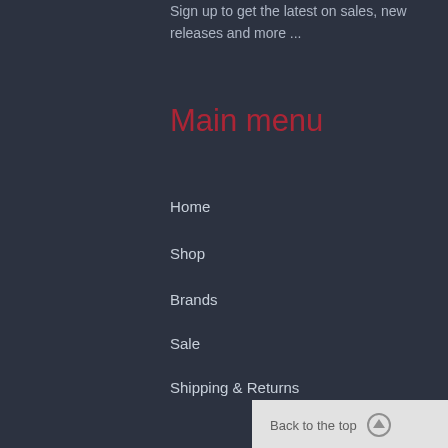Sign up to get the latest on sales, new releases and more ...
Main menu
Home
Shop
Brands
Sale
Shipping & Returns
About Us
Contact Us
Shop
Men's
Women's
Kid's